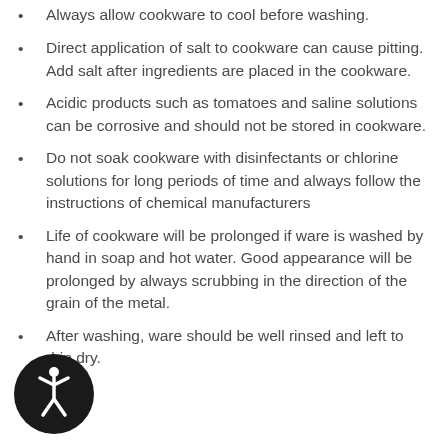Always allow cookware to cool before washing.
Direct application of salt to cookware can cause pitting. Add salt after ingredients are placed in the cookware.
Acidic products such as tomatoes and saline solutions can be corrosive and should not be stored in cookware.
Do not soak cookware with disinfectants or chlorine solutions for long periods of time and always follow the instructions of chemical manufacturers
Life of cookware will be prolonged if ware is washed by hand in soap and hot water. Good appearance will be prolonged by always scrubbing in the direction of the grain of the metal.
After washing, ware should be well rinsed and left to drip dry.
[Figure (illustration): Accessibility icon — circular black button with a white human figure in the universal accessibility pose]